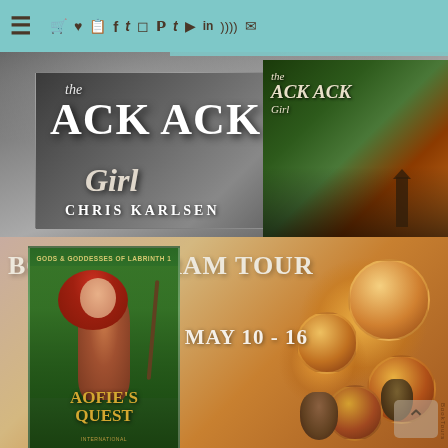Navigation bar with hamburger menu and social media icons
[Figure (illustration): Book promotional banner for 'The Ack Ack Girl' by Chris Karlsen. Shows two book covers against a gray atmospheric background. Left cover has large stylized title 'The ACK ACK Girl' in white on dark background with aircraft imagery. Right cover shows same book with different cover art featuring soldiers. Author name 'CHRIS KARLSEN' displayed prominently. Tour dates 'MAY 10-16' shown.]
[Figure (illustration): Bookstagram Tour banner for 'Aofie's Quest' (Gods & Goddesses of Labrinth series). Shows a fantasy book cover featuring a red-haired female archer in leather armor holding a bow, in a forest setting. Text reads 'BOOKSTAGRAM TOUR' and 'MAY 10 - 16'. Warm candlelight background on right side with pine cones and candles. BookTours watermark visible.]